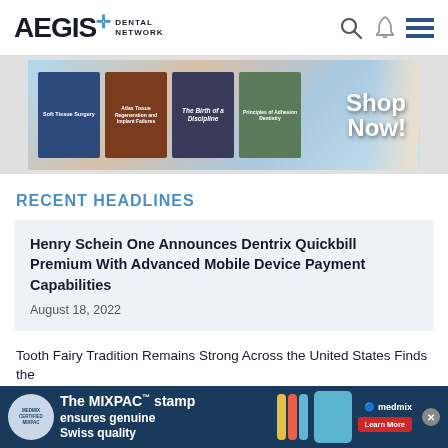AEGIS DENTAL NETWORK
[Figure (photo): Banner advertisement showing dental books and 'Shop Now!' call to action with a page-turn effect]
RECENT HEADLINES
Henry Schein One Announces Dentrix Quickbill Premium With Advanced Mobile Device Payment Capabilities
August 18, 2022
Tooth Fairy Tradition Remains Strong Across the United States Finds the
[Figure (photo): Bottom advertisement banner: 'The MIXPAC stamp ensures genuine Swiss quality' with medmix branding and product image]